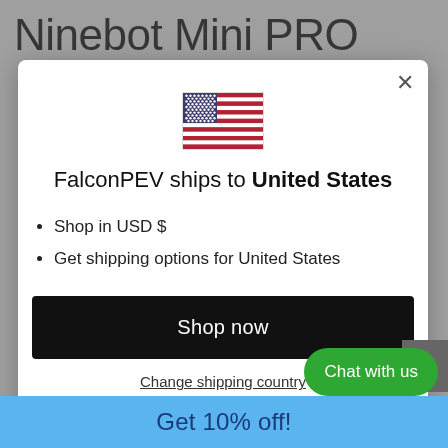Ninebot Mini PRO
[Figure (screenshot): Modal dialog overlay on a website. Contains a US flag icon, heading 'FalconPEV ships to United States', bullet points for USD shop and shipping options, a 'Shop now' black button, a 'Change shipping country' link, a scroll-to-top arrow button, a green 'Chat with us' button, and a blue bottom bar with 'Get 10% off!' text.]
FalconPEV ships to United States
Shop in USD $
Get shipping options for United States
Shop now
Change shipping country
Chat with us
Get 10% off!